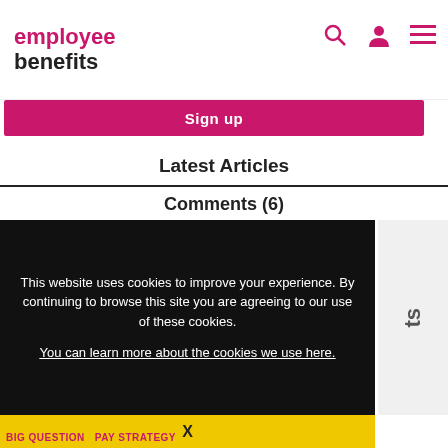employee benefits
Sign up
Latest Articles
Comments (6)
This website uses cookies to improve your experience. By continuing to browse this site you are agreeing to our use of these cookies.
You can learn more about the cookies we use here.
X
BIG QUESTION   PAY STRATEGY